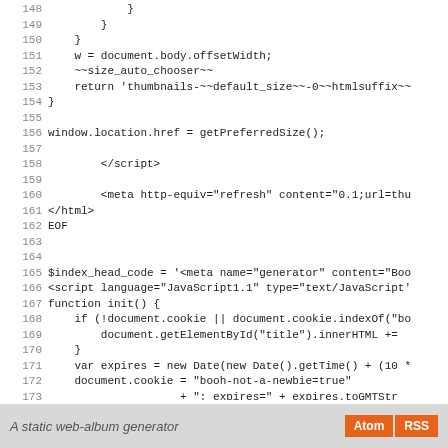Code listing lines 148-176 showing JavaScript/PHP source code with line numbers
A static web-album generator  Atom  RSS